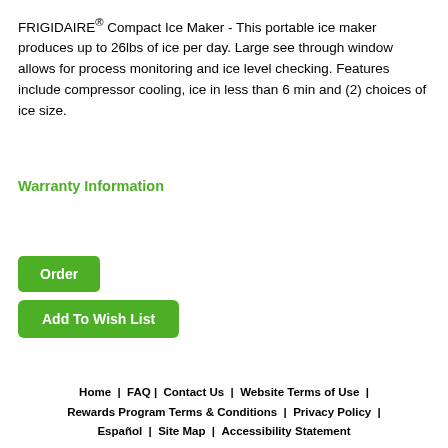FRIGIDAIRE® Compact Ice Maker - This portable ice maker produces up to 26lbs of ice per day. Large see through window allows for process monitoring and ice level checking. Features include compressor cooling, ice in less than 6 min and (2) choices of ice size.
Warranty Information
Order
Add To Wish List
Home  |  FAQ |  Contact Us  |  Website Terms of Use  |  Rewards Program Terms & Conditions  |  Privacy Policy  |  Español  |  Site Map  |  Accessibility Statement